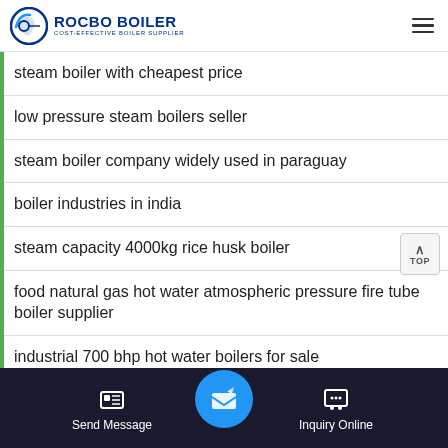ROCBO BOILER — COST-EFFECTIVE BOILER SUPPLIER
steam boiler with cheapest price
low pressure steam boilers seller
steam boiler company widely used in paraguay
boiler industries in india
steam capacity 4000kg rice husk boiler
food natural gas hot water atmospheric pressure fire tube boiler supplier
industrial 700 bhp hot water boilers for sale
Send Message | Inquiry Online